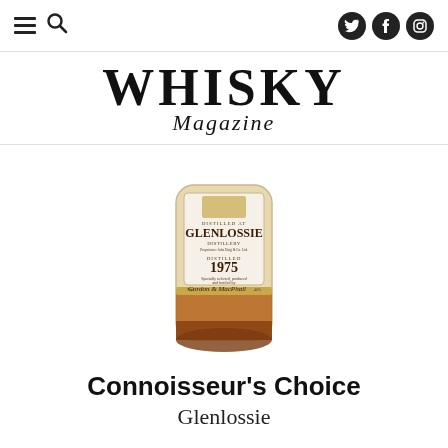Whisky Magazine — navigation and social icons
WHISKY Magazine
[Figure (photo): A whisky bottle with label reading 'Distilled at Glenlossie Distillery, Proprietors John Haig & Co. Ltd., Distilled 1975, Gordon & MacPhail, Elgin, Scotland, Product of Scotland, 40%, 70cl']
Connoisseur's Choice
Glenlossie